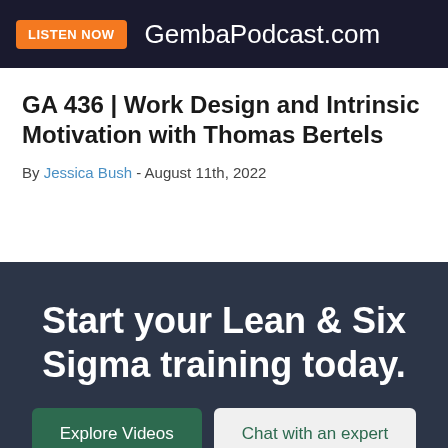[Figure (screenshot): Dark banner with orange 'LISTEN NOW' button and text 'GembaPodcast.com']
GA 436 | Work Design and Intrinsic Motivation with Thomas Bertels
By Jessica Bush - August 11th, 2022
[Figure (infographic): Dark navy promotional section with white text 'Start your Lean & Six Sigma training today.' and two buttons: green 'Explore Videos' and light 'Chat with an expert']